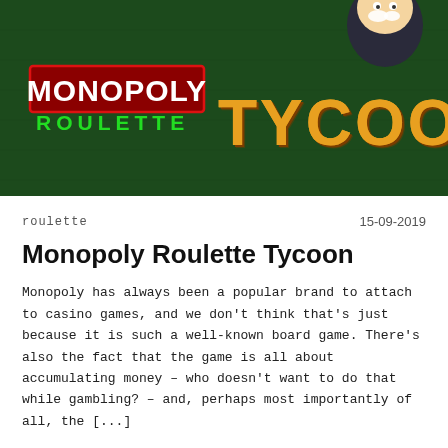[Figure (illustration): Monopoly Roulette Tycoon game banner with dark green background, Monopoly logo in red box, ROULETTE in green letters, TYCOON in large gold letters, and a cartoon Monopoly man figure at top right]
roulette
15-09-2019
Monopoly Roulette Tycoon
Monopoly has always been a popular brand to attach to casino games, and we don't think that's just because it is such a well-known board game. There's also the fact that the game is all about accumulating money – who doesn't want to do that while gambling? – and, perhaps most importantly of all, the [...]
read more >